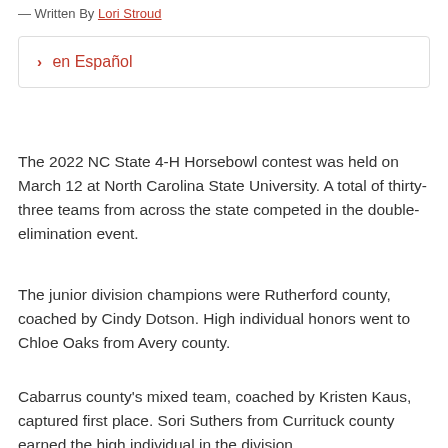— Written By Lori Stroud
› en Español
The 2022 NC State 4-H Horsebowl contest was held on March 12 at North Carolina State University. A total of thirty-three teams from across the state competed in the double-elimination event.
The junior division champions were Rutherford county, coached by Cindy Dotson. High individual honors went to Chloe Oaks from Avery county.
Cabarrus county's mixed team, coached by Kristen Kaus, captured first place. Sori Suthers from Currituck county earned the high individual in the division.